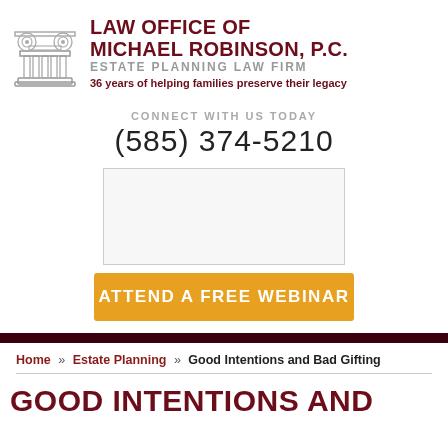[Figure (logo): Greek column / Ionic capital architectural logo icon in grey]
LAW OFFICE OF MICHAEL ROBINSON, P.C. ESTATE PLANNING LAW FIRM 36 years of helping families preserve their legacy
CONNECT WITH US TODAY
(585) 374-5210
[Figure (photo): Image placeholder box]
ATTEND A FREE WEBINAR
Home » Estate Planning » Good Intentions and Bad Gifting
GOOD INTENTIONS AND